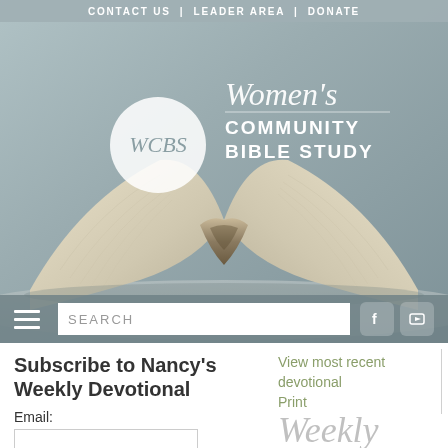CONTACT US | LEADER AREA | DONATE
[Figure (logo): WCBS Women's Community Bible Study logo with circle emblem and open Bible hero image]
[Figure (screenshot): Search bar with hamburger menu, search field, Facebook and YouTube social icons]
Subscribe to Nancy's Weekly Devotional
Email:
View most recent devotional
Print
Weekly